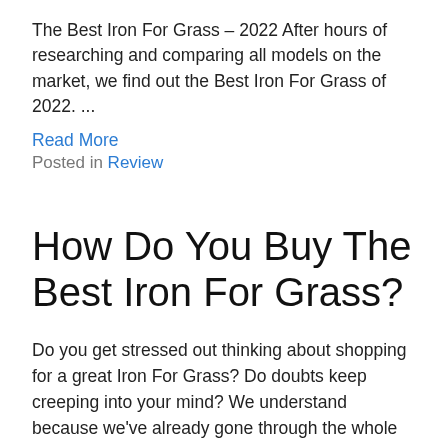The Best Iron For Grass – 2022 After hours of researching and comparing all models on the market, we find out the Best Iron For Grass of 2022. ...
Read More
Posted in Review
How Do You Buy The Best Iron For Grass?
Do you get stressed out thinking about shopping for a great Iron For Grass? Do doubts keep creeping into your mind? We understand because we've already gone through the whole process of researching Iron For Grass, which is why we have assembled a comprehensive list of the greatest Iron For Grass available in the current market. We've also